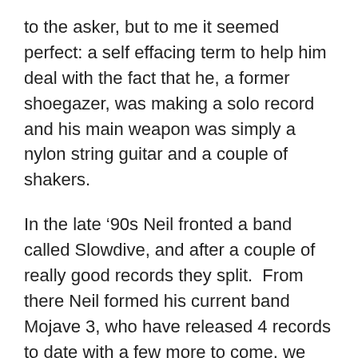to the asker, but to me it seemed perfect: a self effacing term to help him deal with the fact that he, a former shoegazer, was making a solo record and his main weapon was simply a nylon string guitar and a couple of shakers.
In the late ’90s Neil fronted a band called Slowdive, and after a couple of really good records they split.  From there Neil formed his current band Mojave 3, who have released 4 records to date with a few more to come, we hope.  Hard to find 2 bands with more critical accolades, and at the core of those bands was Neil and his songwriting. oh mighty engine is the name of Neil’s newest solo record.  It is a record that can handle excessive listens and seems to absorb every mood I have thrown at it.  It is really hard to find a record that can make you happy, sad, and can make you laugh all at